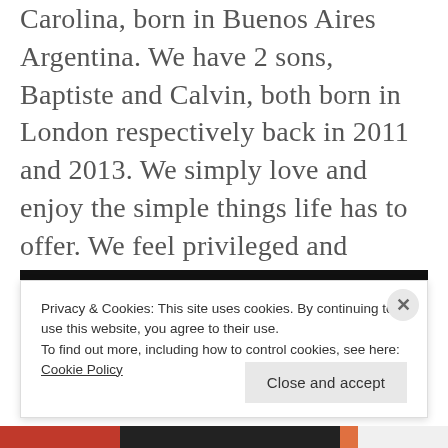Carolina, born in Buenos Aires Argentina. We have 2 sons, Baptiste and Calvin, both born in London respectively back in 2011 and 2013. We simply love and enjoy the simple things life has to offer. We feel privileged and decided to share our journey to making the most out of it. View all posts by ATAVOLA! by Benoit
Privacy & Cookies: This site uses cookies. By continuing to use this website, you agree to their use. To find out more, including how to control cookies, see here: Cookie Policy